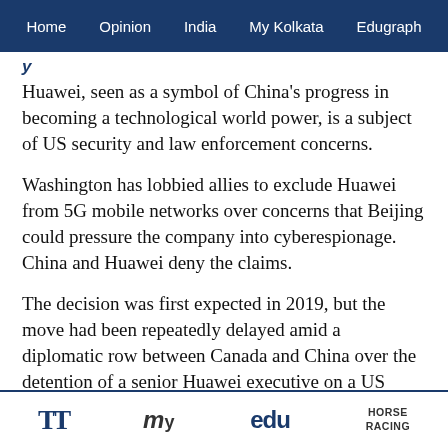Home   Opinion   India   My Kolkata   Edugraph
Huawei, seen as a symbol of China's progress in becoming a technological world power, is a subject of US security and law enforcement concerns.
Washington has lobbied allies to exclude Huawei from 5G mobile networks over concerns that Beijing could pressure the company into cyberespionage. China and Huawei deny the claims.
The decision was first expected in 2019, but the move had been repeatedly delayed amid a diplomatic row between Canada and China over the detention of a senior Huawei executive on a US warrant.
China jailed two Canadians after Canada's arrest of
TT   my   edu   HORSE RACING